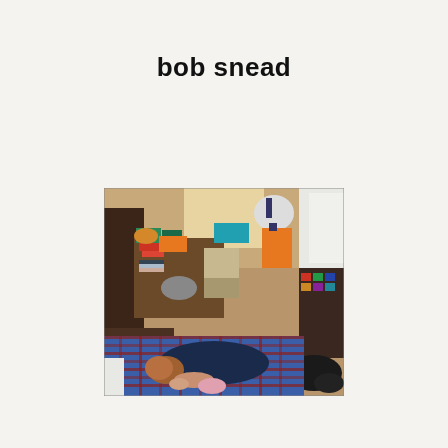bob snead
[Figure (illustration): A painting viewed from above showing a cluttered room with a person lying on a plaid blue/red blanket on the floor surrounded by numerous objects: stacked books, boxes, bags, electronics, food items, orange and teal colored items, a dark wooden dresser or shelf unit, white pillows or bedding in the upper right, and various other clutter. The room has warm orange/tan walls visible in the background.]